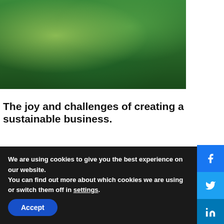[Figure (photo): Aerial view of lush green forest/tree canopy from above, rich green tones]
The joy and challenges of creating a sustainable business.
“We but mirror the world. All the tendencies present in the outer world are to be found in the world of our body. If we could change ourselves, the tendencies in the world would also change. As a changes his own nature, so does the attitude of the world chan
We are using cookies to give you the best experience on our website.
You can find out more about which cookies we are using or switch them off in settings.
Accept